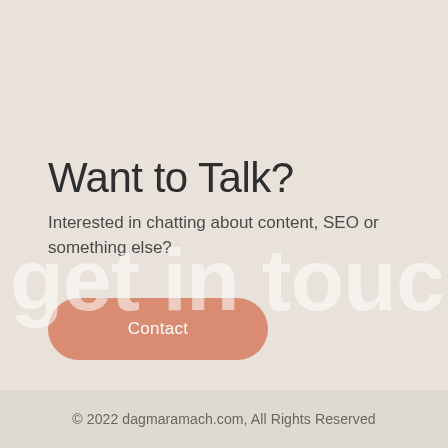Want to Talk?
Interested in chatting about content, SEO or something else?
Contact
get in touch
© 2022 dagmaramach.com, All Rights Reserved